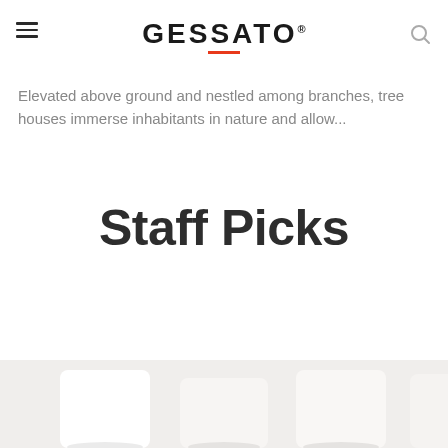GESSATO
Elevated above ground and nestled among branches, tree houses immerse inhabitants in nature and allow...
Staff Picks
[Figure (photo): Bottom partial view of white cylindrical lamp or lighting fixtures on a light background]